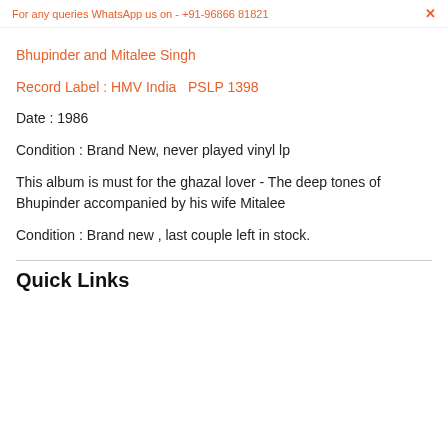For any queries WhatsApp us on - +91-96866 81821  ×
Bhupinder and Mitalee Singh
Record Label : HMV India  PSLP 1398
Date : 1986
Condition : Brand New, never played vinyl lp
This album is must for the ghazal lover - The deep tones of Bhupinder accompanied by his wife Mitalee
Condition : Brand new , last couple left in stock.
Quick Links